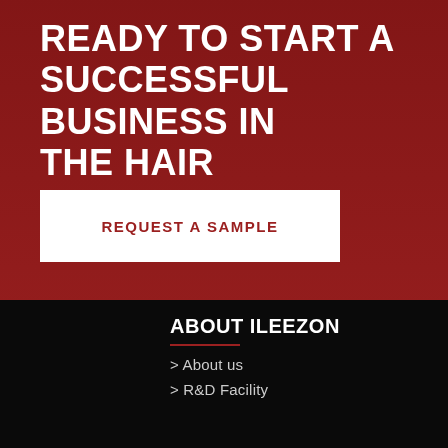READY TO START A SUCCESSFUL BUSINESS IN THE HAIR INDUSTRY?
REQUEST A SAMPLE
ABOUT ILEEZON
> About us
> R&D Facility